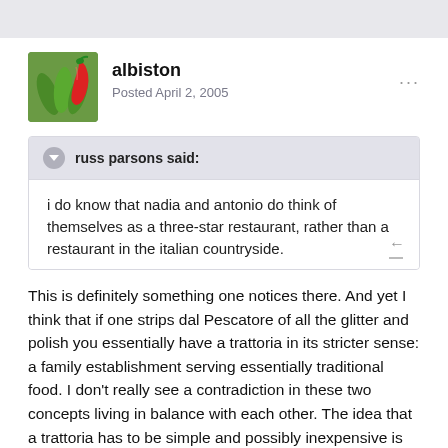albiston
Posted April 2, 2005
russ parsons said:
i do know that nadia and antonio do think of themselves as a three-star restaurant, rather than a restaurant in the italian countryside.
This is definitely something one notices there. And yet I think that if one strips dal Pescatore of all the glitter and polish you essentially have a trattoria in its stricter sense: a family establishment serving essentially traditional food. I don't really see a contradiction in these two concepts living in balance with each other. The idea that a trattoria has to be simple and possibly inexpensive is to my eyes only a possibility, not a rule. (BTW robert, that marinated fish was probably anguilla in